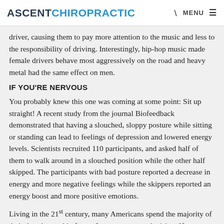ASCENT CHIROPRACTIC
driver, causing them to pay more attention to the music and less to the responsibility of driving. Interestingly, hip-hop music made female drivers behave most aggressively on the road and heavy metal had the same effect on men.
IF YOU'RE NERVOUS
You probably knew this one was coming at some point: Sit up straight! A recent study from the journal Biofeedback demonstrated that having a slouched, sloppy posture while sitting or standing can lead to feelings of depression and lowered energy levels. Scientists recruited 110 participants, and asked half of them to walk around in a slouched position while the other half skipped. The participants with bad posture reported a decrease in energy and more negative feelings while the skippers reported an energy boost and more positive emotions.
Living in the 21st century, many Americans spend the majority of their day slumped in front of a computer or television. If you